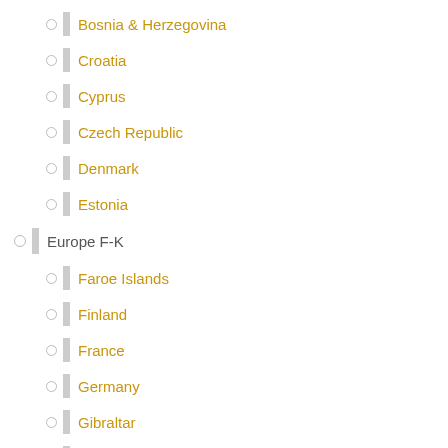Bosnia & Herzegovina
Croatia
Cyprus
Czech Republic
Denmark
Estonia
Europe F-K
Faroe Islands
Finland
France
Germany
Gibraltar
Greece
Hungary
Iceland
Ireland
Italy
Europe L-O